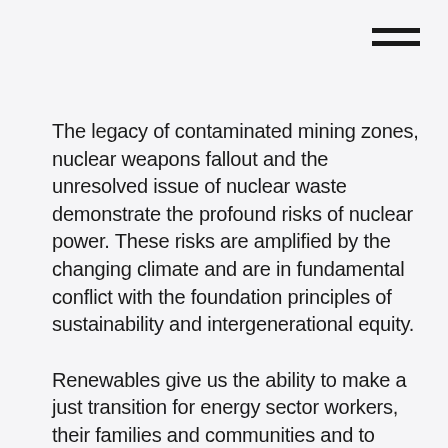[Figure (other): Hamburger menu icon — two horizontal dark bars in the top-right corner]
The legacy of contaminated mining zones, nuclear weapons fallout and the unresolved issue of nuclear waste demonstrate the profound risks of nuclear power. These risks are amplified by the changing climate and are in fundamental conflict with the foundation principles of sustainability and intergenerational equity.
Renewables give us the ability to make a just transition for energy sector workers, their families and communities and to provide secure global access to sustainable low carbon electricity. Renewable energy is real, affordable, low risk and clean. Nuclear simply cannot meet our future energy needs.
Globally, we have multiple energy saving and